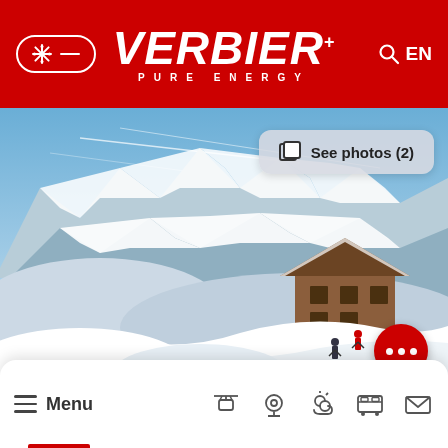VERBIER PURE ENERGY — EN
[Figure (photo): Mountain ski resort photo showing a wooden chalet in the foreground surrounded by deep snow, with dramatic snow-capped alpine peaks in the background under a blue sky. Two figures visible near the chalet.]
See photos (2)
Menu (navigation bar with cable car, webcam, weather, bus, contact icons)